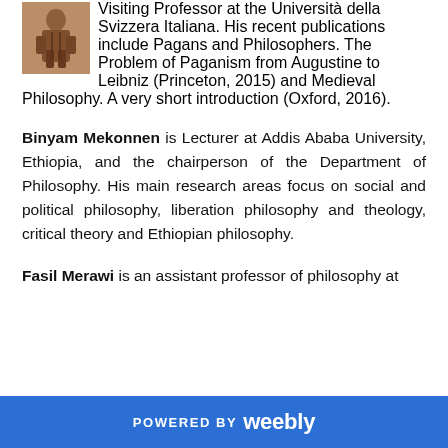[Figure (illustration): Small medieval-style illustration of a seated figure, reddish-brown tones]
Medieval Philosophy in the University of Cambridge. Visiting Professor at the Università della Svizzera Italiana. His recent publications include Pagans and Philosophers. The Problem of Paganism from Augustine to Leibniz (Princeton, 2015) and Medieval Philosophy. A very short introduction (Oxford, 2016).
Binyam Mekonnen is Lecturer at Addis Ababa University, Ethiopia, and the chairperson of the Department of Philosophy. His main research areas focus on social and political philosophy, liberation philosophy and theology, critical theory and Ethiopian philosophy.
Fasil Merawi is an assistant professor of philosophy at
POWERED BY weebly